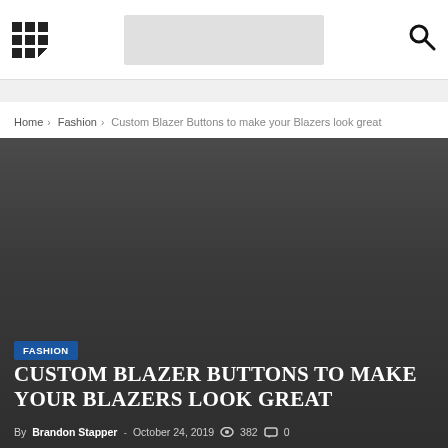Navigation bar with grid icon, logo placeholder, and search icon
Home › Fashion › Custom Blazer Buttons to make your Blazers look great
[Figure (photo): Dark gray hero image background for article]
FASHION
CUSTOM BLAZER BUTTONS TO MAKE YOUR BLAZERS LOOK GREAT
By Brandon Stapper - October 24, 2019  382  0